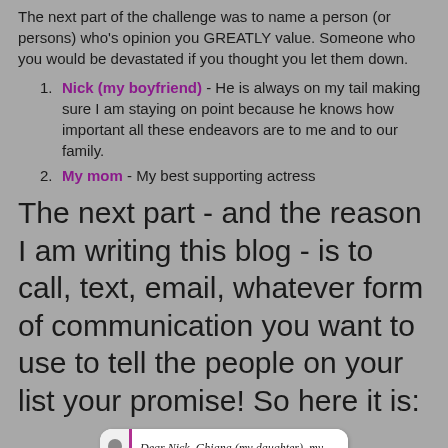The next part of the challenge was to name a person (or persons) who's opinion you GREATLY value. Someone who you would be devastated if you thought you let them down.
Nick (my boyfriend) - He is always on my tail making sure I am staying on point because he knows how important all these endeavors are to me and to our family.
My mom - My best supporting actress
The next part - and the reason I am writing this blog - is to call, text, email, whatever form of communication you want to use to tell the people on your list your promise! So here it is:
[Figure (photo): A handwritten note card with a purple vertical line on the left side and a hole punch. The card reads: Dear Nick, Ghiana (my daughter), my mom, my family, my friends, my DIG]